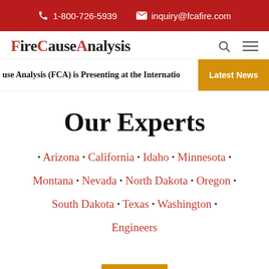1-800-726-5939  inquiry@fcafire.com
[Figure (logo): FireCauseAnalysis logo with F, C, A in red and rest in black, with search and menu icons]
Fire Cause Analysis (FCA) is Presenting at the Internatio...
Latest News
Our Experts
• Arizona • California • Idaho • Minnesota • Montana • Nevada • North Dakota • Oregon • South Dakota • Texas • Washington • Engineers